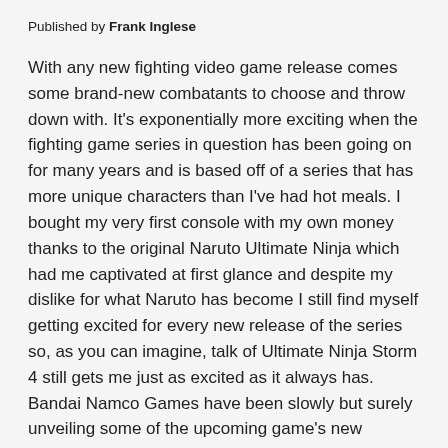Published by Frank Inglese
With any new fighting video game release comes some brand-new combatants to choose and throw down with. It's exponentially more exciting when the fighting game series in question has been going on for many years and is based off of a series that has more unique characters than I've had hot meals. I bought my very first console with my own money thanks to the original Naruto Ultimate Ninja which had me captivated at first glance and despite my dislike for what Naruto has become I still find myself getting excited for every new release of the series so, as you can imagine, talk of Ultimate Ninja Storm 4 still gets me just as excited as it always has. Bandai Namco Games have been slowly but surely unveiling some of the upcoming game's new characters and combat systems, and thanks to the latest issue of Shueisha's Weekly Shonen Jump it has been revealed that Obito Uchiha will indeed [Light/Dark toggle] playable character. We've seen him in the past as Tobi and